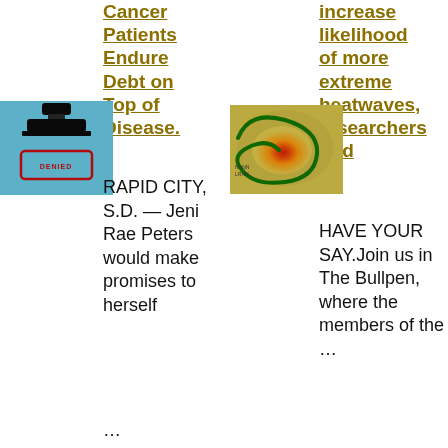Cancer Patients Endure Debt on Top of Disease.
[Figure (photo): A rubber stamp with a red ink impression on a light blue background]
RAPID CITY, S.D. — Jeni Rae Peters would make promises to herself …
increase likelihood of more extreme heatwaves, researchers find
[Figure (map): A map showing a region with a green loop/swirl pattern and red/orange heat area overlay]
HAVE YOUR SAY.Join us in The Bullpen, where the members of the …